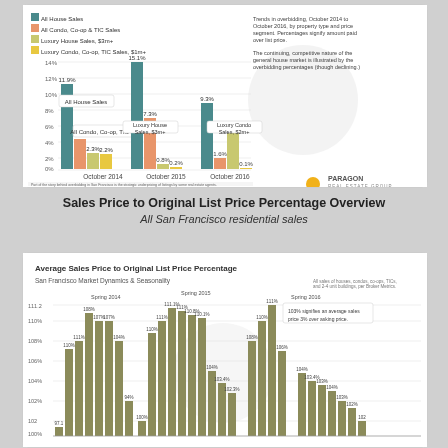[Figure (grouped-bar-chart): Trends in overbidding, October 2014 to October 2016, by property type and price segment]
Sales Price to Original List Price Percentage Overview
All San Francisco residential sales
[Figure (bar-chart): San Francisco Market Dynamics & Seasonality bar chart showing seasonal percentage trends from Spring 2014 through Spring 2016 with values ranging from approximately 97% to 111.2%]